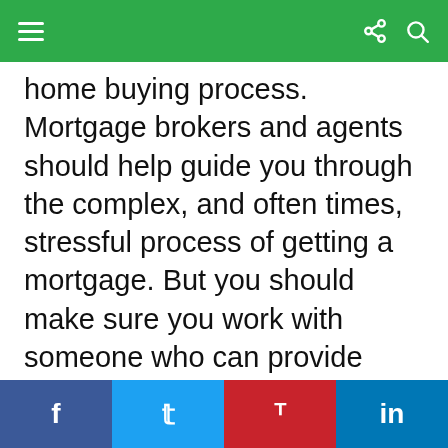Navigation bar with menu, share, and search icons
home buying process. Mortgage brokers and agents should help guide you through the complex, and often times, stressful process of getting a mortgage. But you should make sure you work with someone who can provide solutions and has your interests top of mind.
People who are not able to do their own home loan analysis often use a mortgage broker because they provide better rates and because they research mortgage options on the behalf of clients. Good mortgage brokers are identified by the long relationship they have with their customers because
Social share buttons: Facebook, Twitter, Pinterest, LinkedIn